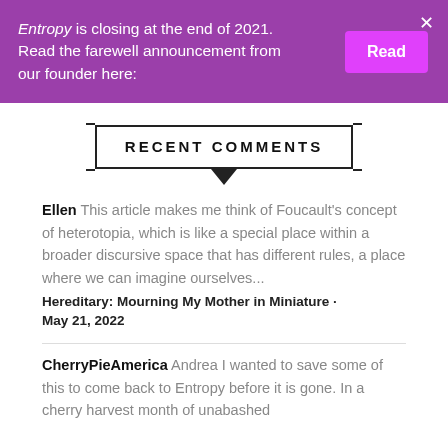Entropy is closing at the end of 2021. Read the farewell announcement from our founder here:
RECENT COMMENTS
Ellen This article makes me think of Foucault's concept of heterotopia, which is like a special place within a broader discursive space that has different rules, a place where we can imagine ourselves...
Hereditary: Mourning My Mother in Miniature · May 21, 2022
CherryPieAmerica Andrea I wanted to save some of this to come back to Entropy before it is gone. In a cherry harvest month of unabashed